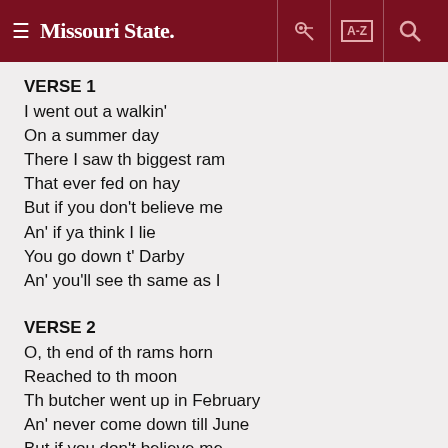Missouri State [navigation header with hamburger menu, key icon, A-Z index, and search icons]
VERSE 1
I went out a walkin'
On a summer day
There I saw th biggest ram
That ever fed on hay
But if you don't believe me
An' if ya think I lie
You go down t' Darby
An' you'll see th same as I
VERSE 2
O, th end of th rams horn
Reached to th moon
Th butcher went up in February
An' never come down till June
But if you don't believe me
An' if ya think I lie